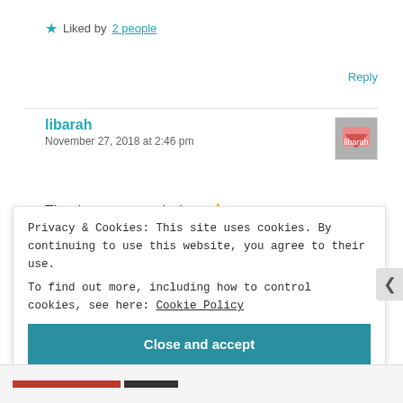★ Liked by 2 people
Reply
libarah
November 27, 2018 at 2:46 pm
Thank you so much dear 👍
Privacy & Cookies: This site uses cookies. By continuing to use this website, you agree to their use.
To find out more, including how to control cookies, see here: Cookie Policy
Close and accept